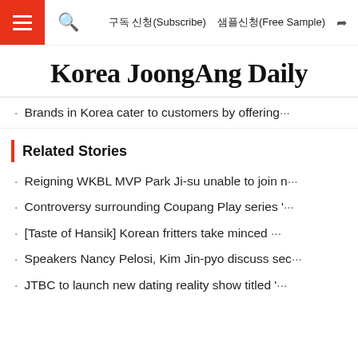구독 신청(Subscribe)  샘플신청(Free Sample)
Korea JoongAng Daily
· Brands in Korea cater to customers by offering…
Related Stories
· Reigning WKBL MVP Park Ji-su unable to join n…
· Controversy surrounding Coupang Play series '…
· [Taste of Hansik] Korean fritters take minced …
· Speakers Nancy Pelosi, Kim Jin-pyo discuss sec…
· JTBC to launch new dating reality show titled '…